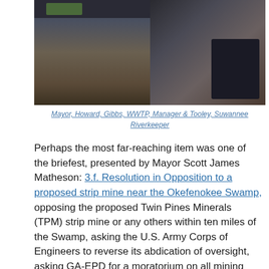[Figure (photo): Two side-by-side photos from a government meeting room. Left photo shows a council chamber with people seated at rows, screens visible at top. Right photo shows a man in a dark suit from behind facing a woman at a podium/speaker position.]
Mayor, Howard, Gibbs, WWTP, Manager & Tooley, Suwannee Riverkeeper
Perhaps the most far-reaching item was one of the briefest, presented by Mayor Scott James Matheson: 3.f. Resolution in Opposition to a proposed strip mine near the Okefenokee Swamp, opposing the proposed Twin Pines Minerals (TPM) strip mine or any others within ten miles of the Swamp, asking the U.S. Army Corps of Engineers to reverse its abdication of oversight, asking GA-EPD for a moratorium on all mining permits until effects are settled of the recent court overruling of 2020 Clean Water Act changes, as well as to reject the TPM permits, or at least to review those applications as thoroughly as the Army Corps would, and asking the Georgia legislature to prevent such strip mines near the Swamp or any blackwater rivers in the Suwannee